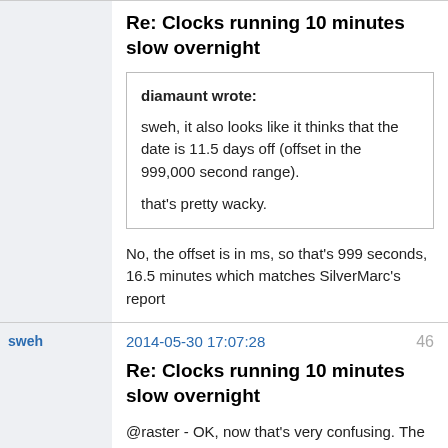Re: Clocks running 10 minutes slow overnight
diamaunt wrote:
sweh, it also looks like it thinks that the date is 11.5 days off (offset in the 999,000 second range).
that's pretty wacky.
No, the offset is in ms, so that's 999 seconds, 16.5 minutes which matches SilverMarc's report
sweh
2014-05-30 17:07:28
46
Re: Clocks running 10 minutes slow overnight
@raster - OK, now that's very confusing. The